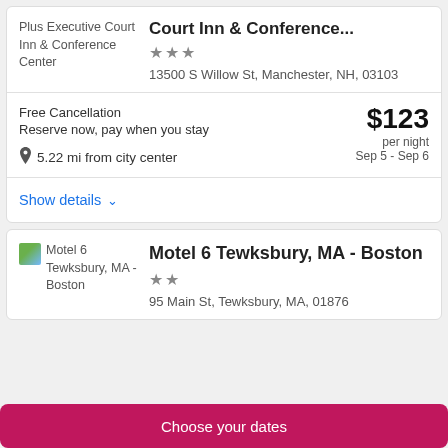Plus Executive Court Inn & Conference Center
Court Inn & Conference...
★★★
13500 S Willow St, Manchester, NH, 03103
Free Cancellation
Reserve now, pay when you stay
5.22 mi from city center
$123 per night Sep 5 - Sep 6
Show details
Motel 6 Tewksbury, MA - Boston
★★
95 Main St, Tewksbury, MA, 01876
Choose your dates